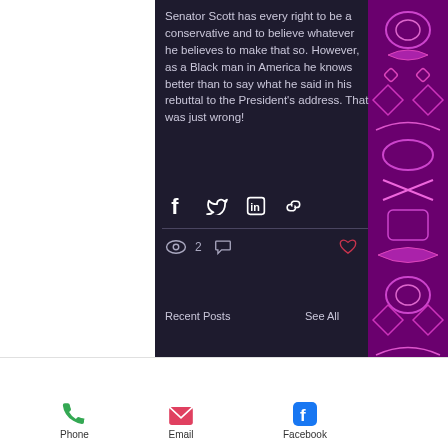Senator Scott has every right to be a conservative and to believe whatever he believes to make that so. However, as a Black man in America he knows better than to say what he said in his rebuttal to the President's address. That was just wrong!
[Figure (other): Social share icons row: Facebook, Twitter, LinkedIn, and link/copy icon]
[Figure (other): Post stats row: eye/views icon showing 2, comment icon, and a heart/like icon on the right]
Recent Posts
See All
[Figure (other): Bottom navigation bar with Phone (green phone icon), Email (red envelope icon), Facebook (blue Facebook icon)]